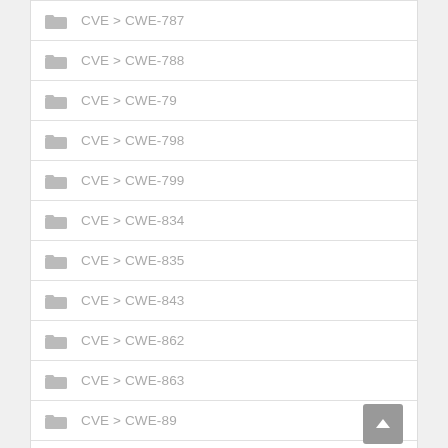CVE > CWE-787
CVE > CWE-788
CVE > CWE-79
CVE > CWE-798
CVE > CWE-799
CVE > CWE-834
CVE > CWE-835
CVE > CWE-843
CVE > CWE-862
CVE > CWE-863
CVE > CWE-89